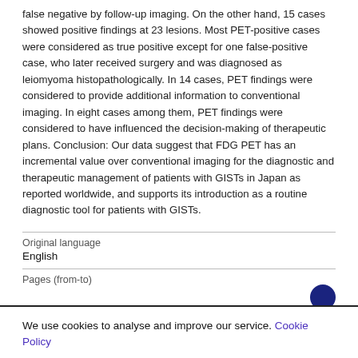false negative by follow-up imaging. On the other hand, 15 cases showed positive findings at 23 lesions. Most PET-positive cases were considered as true positive except for one false-positive case, who later received surgery and was diagnosed as leiomyoma histopathologically. In 14 cases, PET findings were considered to provide additional information to conventional imaging. In eight cases among them, PET findings were considered to have influenced the decision-making of therapeutic plans. Conclusion: Our data suggest that FDG PET has an incremental value over conventional imaging for the diagnostic and therapeutic management of patients with GISTs in Japan as reported worldwide, and supports its introduction as a routine diagnostic tool for patients with GISTs.
Original language
English
Pages (from-to)
We use cookies to analyse and improve our service. Cookie Policy